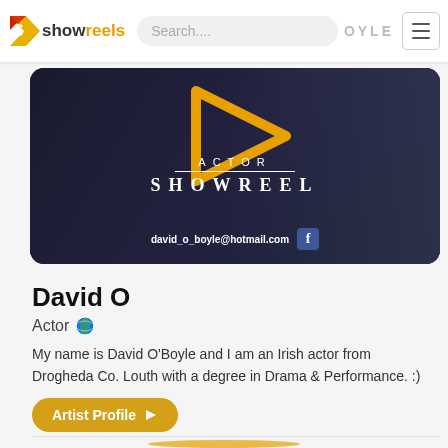showreels | Search.... | OYLE | menu
[Figure (screenshot): Video thumbnail showing Actor Showreel with text 'ACTOR SHOWREEL', email david_o_boyle@hotmail.com and Facebook icon, with a golden play arrow overlay on dark background showing a person]
David O
Actor 🌐
My name is David O'Boyle and I am an Irish actor from Drogheda Co. Louth with a degree in Drama & Performance. :)
Artist Profile ▶